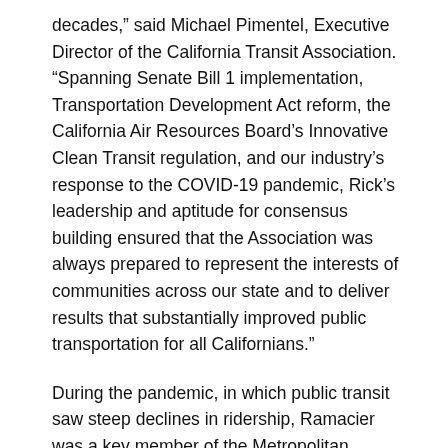decades,” said Michael Pimentel, Executive Director of the California Transit Association. “Spanning Senate Bill 1 implementation, Transportation Development Act reform, the California Air Resources Board’s Innovative Clean Transit regulation, and our industry’s response to the COVID-19 pandemic, Rick’s leadership and aptitude for consensus building ensured that the Association was always prepared to represent the interests of communities across our state and to deliver results that substantially improved public transportation for all Californians.”
During the pandemic, in which public transit saw steep declines in ridership, Ramacier was a key member of the Metropolitan Transportation Commission (MTC) Blue Ribbon Transit Recovery Task Force working with transit operators, labor, and elected officials, which resulted in the Task Force’s action it laid